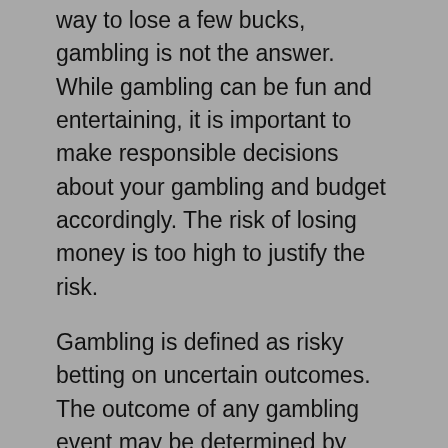way to lose a few bucks, gambling is not the answer. While gambling can be fun and entertaining, it is important to make responsible decisions about your gambling and budget accordingly. The risk of losing money is too high to justify the risk.
Gambling is defined as risky betting on uncertain outcomes. The outcome of any gambling event may be determined by chance, or it may be the result of the bettor's own miscalculation. As such, it's important to recognize the signs of an addiction before it progresses into an addiction. However, many people who participate in gambling are not aware of its dangers and should seek professional help if they're interested in getting rid of this unhealthy behavior.
People with compulsive gambling may be prone to